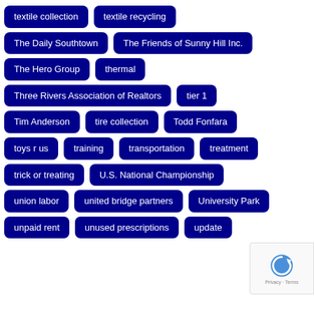textile collection
textile recycling
The Daily Southtown
The Friends of Sunny Hill Inc.
The Hero Group
thermal
Three Rivers Association of Realtors
tier 1
Tim Anderson
tire collection
Todd Fonfara
toys r us
training
transportation
treatment
trick or treating
U.S. National Championship
union labor
united bridge partners
University Park
unpaid rent
unused prescriptions
update